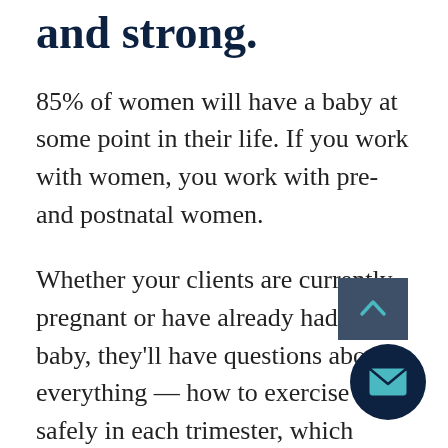and strong.
85% of women will have a baby at some point in their life. If you work with women, you work with pre- and postnatal women.
Whether your clients are currently pregnant or have already had their baby, they'll have questions about everything — how to exercise safely in each trimester, which foods they should and shouldn't eat, how to